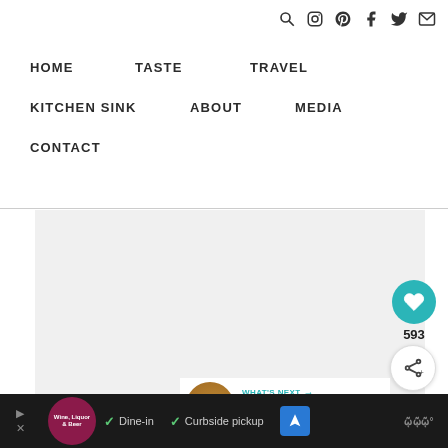Search, Instagram, Pinterest, Facebook, Twitter, Email icons
HOME
TASTE
TRAVEL
KITCHEN SINK
ABOUT
MEDIA
CONTACT
[Figure (other): Light gray placeholder content area]
593
WHAT'S NEXT → DIY Edible Holiday Gifts
[Figure (other): Ad bar: Wine Liquor & Beer logo, Dine-in, Curbside pickup, navigation icon, temperature icon]